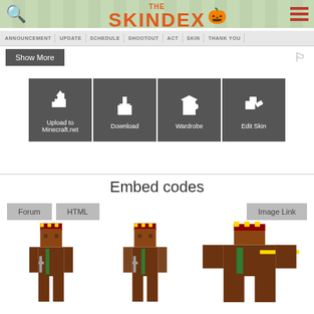[Figure (screenshot): The Skindex website header with logo, search icon, hamburger menu, and navigation tags: ANNOUNCEMENT, UPDATE, SCHEDULE, SHOOTOUT, ACT, SKIN, THANK YOU]
ANNOUNCEMENT
UPDATE
SCHEDULE
SHOOTOUT
ACT
SKIN
THANK YOU
Show More
[Figure (illustration): Four action buttons: Upload to Minecraft.net, Download, Wardrobe, Edit Skin — each with a white icon on dark gray background]
Embed codes
Forum
HTML
Image Link
[Figure (illustration): Minecraft character skins displayed as embed code previews: two front-view skins and one top-down/flat view skin]